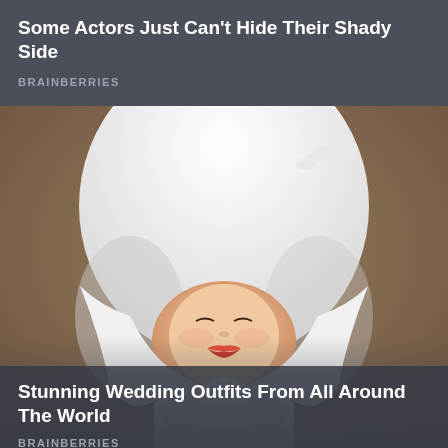Some Actors Just Can't Hide Their Shady Side
BRAINBERRIES
[Figure (photo): Japanese bride wearing traditional white tsunokakushi (horn-hiding hood) wedding headpiece with white kimono, eyes closed, red lips, soft brown background]
Stunning Wedding Outfits From All Around The World
BRAINBERRIES
[Figure (photo): Close-up of a blonde woman with straight hair, partial face visible, with green decorative elements and red flowers in the background]